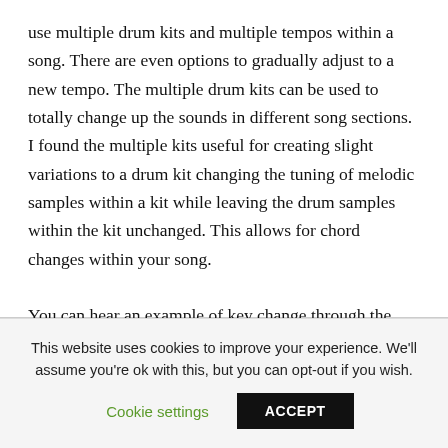use multiple drum kits and multiple tempos within a song. There are even options to gradually adjust to a new tempo. The multiple drum kits can be used to totally change up the sounds in different song sections. I found the multiple kits useful for creating slight variations to a drum kit changing the tuning of melodic samples within a kit while leaving the drum samples within the kit unchanged. This allows for chord changes within your song.

You can hear an example of key change through the
This website uses cookies to improve your experience. We'll assume you're ok with this, but you can opt-out if you wish.
Cookie settings   ACCEPT